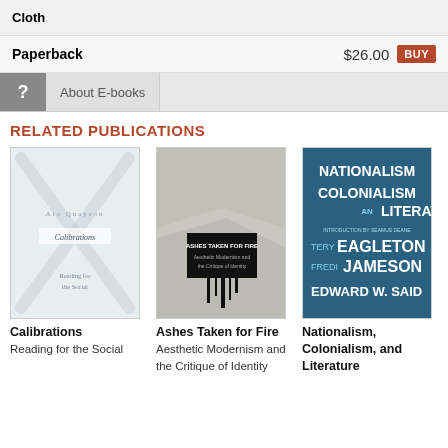Cloth
Paperback $26.00 BUY
About E-books
RELATED PUBLICATIONS
[Figure (illustration): Book cover of Calibrations: Reading for the Social]
Calibrations
Reading for the Social
[Figure (illustration): Book cover of Ashes Taken for Fire: Aesthetic Modernism and the Critique of Identity]
Ashes Taken for Fire
Aesthetic Modernism and the Critique of Identity
[Figure (illustration): Book cover of Nationalism, Colonialism, and Literature]
Nationalism, Colonialism, and Literature